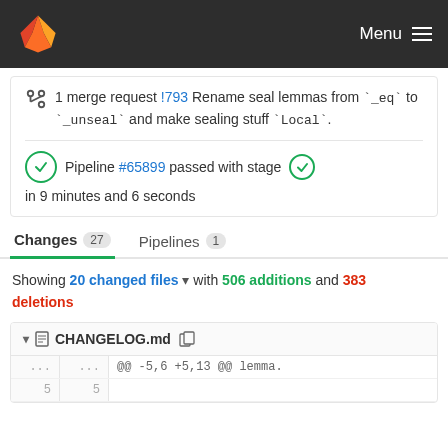GitLab — Menu
1 merge request !793 Rename seal lemmas from `_eq` to `_unseal` and make sealing stuff `Local`.
Pipeline #65899 passed with stage in 9 minutes and 6 seconds
Changes 27   Pipelines 1
Showing 20 changed files with 506 additions and 383 deletions
CHANGELOG.md
@@ -5,6 +5,13 @@ lemma.